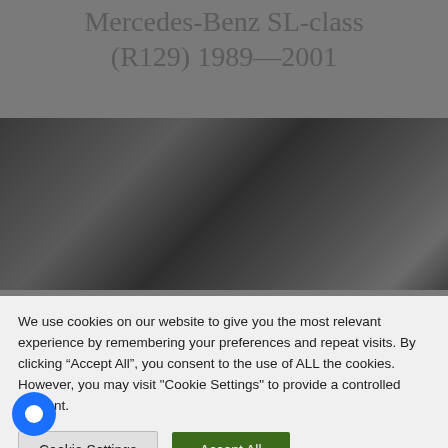Mercedes-Benz SL-class (R129) 1989—2001
[Figure (photo): A dark, blurred photograph of a Mercedes-Benz SL-class (R129) car, rendered in dark gray tones.]
We use cookies on our website to give you the most relevant experience by remembering your preferences and repeat visits. By clicking “Accept All”, you consent to the use of ALL the cookies. However, you may visit "Cookie Settings" to provide a controlled consent.